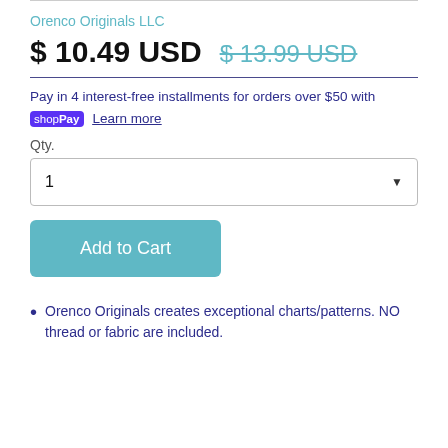Orenco Originals LLC
$ 10.49 USD  $ 13.99 USD
Pay in 4 interest-free installments for orders over $50 with shop Pay  Learn more
Qty.
1
Add to Cart
Orenco Originals creates exceptional charts/patterns. NO thread or fabric are included.